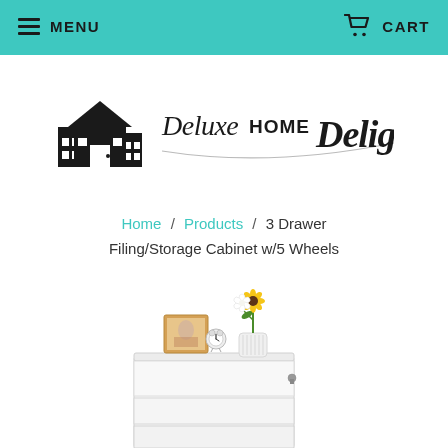MENU   CART
[Figure (logo): Deluxe Home Delight brand logo with house icon and cursive/mixed font text]
Home / Products / 3 Drawer Filing/Storage Cabinet w/5 Wheels
[Figure (photo): White 3-drawer filing/storage cabinet with a photo frame, alarm clock, and flower vase on top]